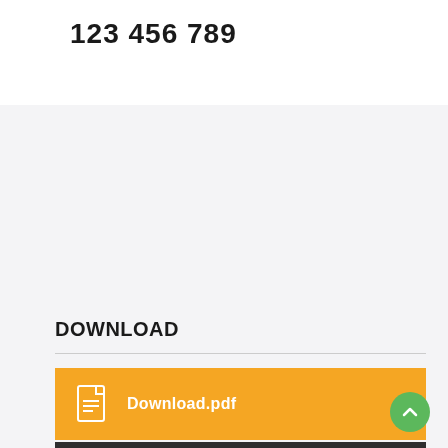123 456 789
DOWNLOAD
Download.pdf
Download.txt